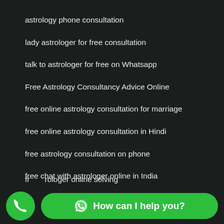astrology phone consultation
lady astrologer for free consultation
talk to astrologer for free on Whatsapp
Free Astrology Consultancy Advice Online
free online astrology consultation for marriage
free online astrology consultation in Hindi
free astrology consultation on phone
free chat with astrologer online in India
free astrologer online solving problems
best astrologer online consultation